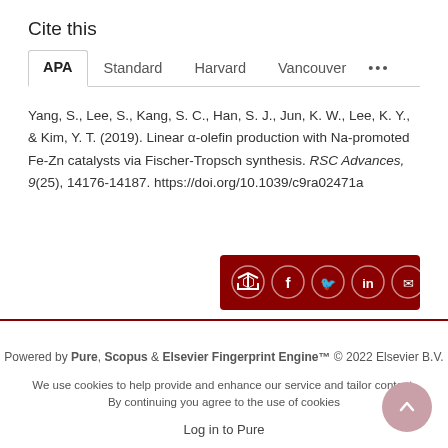Cite this
Yang, S., Lee, S., Kang, S. C., Han, S. J., Jun, K. W., Lee, K. Y., & Kim, Y. T. (2019). Linear α-olefin production with Na-promoted Fe-Zn catalysts via Fischer-Tropsch synthesis. RSC Advances, 9(25), 14176-14187. https://doi.org/10.1039/c9ra02471a
[Figure (other): Share bar with social media icons: share, Facebook, Twitter, LinkedIn, email on dark red background]
Powered by Pure, Scopus & Elsevier Fingerprint Engine™ © 2022 Elsevier B.V.
We use cookies to help provide and enhance our service and tailor content. By continuing you agree to the use of cookies
Log in to Pure